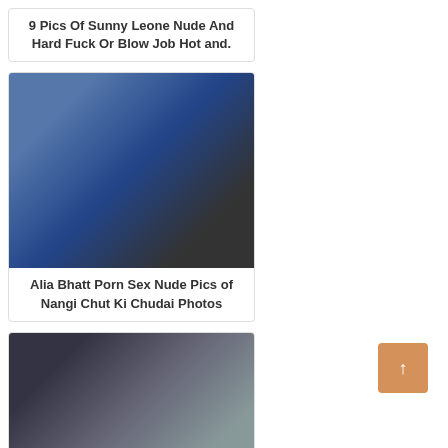9 Pics Of Sunny Leone Nude And Hard Fuck Or Blow Job Hot and.
[Figure (photo): Adult content photo placeholder - group scene]
Alia Bhatt Porn Sex Nude Pics of Nangi Chut Ki Chudai Photos
[Figure (photo): Adult content photo placeholder - woman closeup]